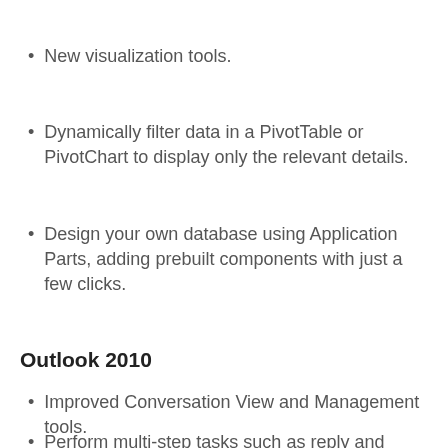New visualization tools.
Dynamically filter data in a PivotTable or PivotChart to display only the relevant details.
Design your own database using Application Parts, adding prebuilt components with just a few clicks.
Outlook 2010
Improved Conversation View and Management tools.
Perform multi-step tasks such as reply and delete